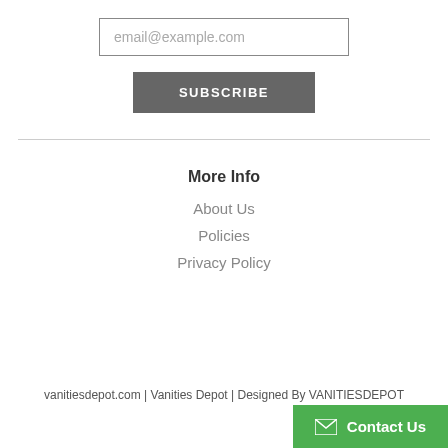email@example.com
SUBSCRIBE
More Info
About Us
Policies
Privacy Policy
vanitiesdepot.com | Vanities Depot | Designed By VANITIESDEPOT
Contact Us